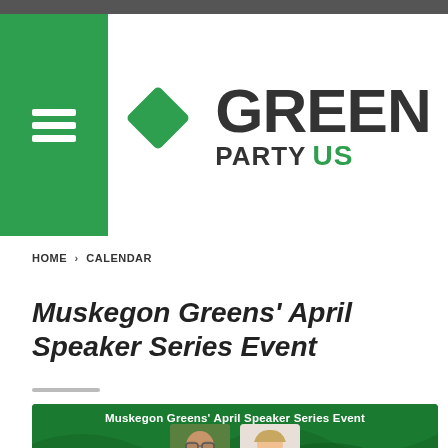[Figure (logo): Green Party US logo with green diamond shape and bold text 'GREEN PARTY US']
HOME > CALENDAR
Muskegon Greens' April Speaker Series Event
[Figure (photo): Event banner with dark green background and wave pattern, showing 'Muskegon Greens' April Speaker Series Event' title with two speaker photos below]